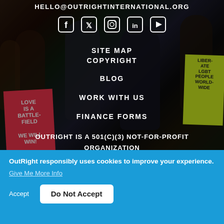HELLO@OUTRIGHTINTERNATIONAL.ORG
[Figure (other): Social media icons: Facebook, Twitter, Instagram, LinkedIn, YouTube]
SITE MAP
COPYRIGHT
BLOG
WORK WITH US
FINANCE FORMS
OUTRIGHT IS A 501(C)(3) NOT-FOR-PROFIT ORGANIZATION
[Figure (illustration): Globe icon (language/region selector)]
[Figure (photo): Background photo of protest crowd with signs reading LOVE IS A BATTLEFIELD WE WILL WIN and LIBERATE LGBT PEOPLE WORLDWIDE]
OutRight responsibly uses cookies to improve your experience. Give Me More Info
Accept
Do Not Accept